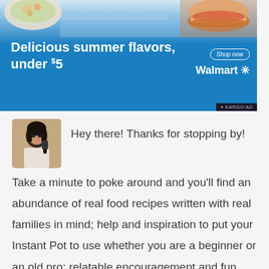[Figure (other): Walmart advertisement banner showing summer food items (sandwiches, salads) with blue background. Text reads 'Delicious summer flavors, under $5' with 'Shop now' button and Walmart logo. Tagged with Kargo AD.]
[Figure (photo): Small square profile photo of a woman with dark hair wearing sunglasses, talking on a phone.]
Hey there! Thanks for stopping by! Take a minute to poke around and you'll find an abundance of real food recipes written with real families in mind; help and inspiration to put your Instant Pot to use whether you are a beginner or an old pro; relatable encouragement and fun chatting about family life, from toddler tantrums to toy recommendations, from homeschooling to tips on staying on top of the laundry mountain; and if that wasn't enough, we can chat about natural living and